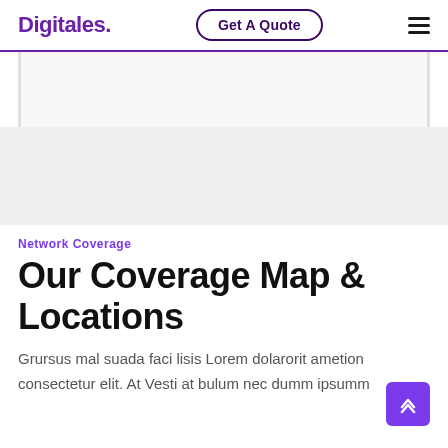Digitales. | Get A Quote | ≡
[Figure (other): White banner panel with light gray background, partial content area]
Network Coverage
Our Coverage Map & Locations
Grursus mal suada faci lisis Lorem dolarorit ametion consectetur elit. At Vesti at bulum nec dumm ipsumm